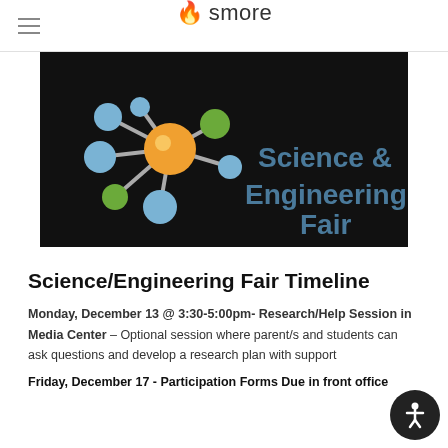smore
[Figure (illustration): Science & Engineering Fair banner on black background with molecule/atom graphic showing orange central sphere connected to blue and green spheres via gray rods, with teal text reading 'Science & Engineering Fair']
Science/Engineering Fair Timeline
Monday, December 13 @ 3:30-5:00pm- Research/Help Session in Media Center – Optional session where parent/s and students can ask questions and develop a research plan with support
Friday, December 17 - Participation Forms Due in front office